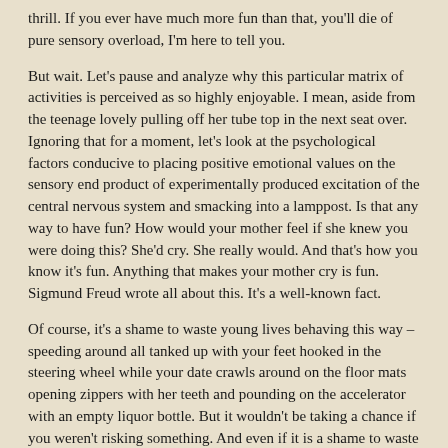thrill. If you ever have much more fun than that, you'll die of pure sensory overload, I'm here to tell you.
But wait. Let's pause and analyze why this particular matrix of activities is perceived as so highly enjoyable. I mean, aside from the teenage lovely pulling off her tube top in the next seat over. Ignoring that for a moment, let's look at the psychological factors conducive to placing positive emotional values on the sensory end product of experimentally produced excitation of the central nervous system and smacking into a lamppost. Is that any way to have fun? How would your mother feel if she knew you were doing this? She'd cry. She really would. And that's how you know it's fun. Anything that makes your mother cry is fun. Sigmund Freud wrote all about this. It's a well-known fact.
Of course, it's a shame to waste young lives behaving this way – speeding around all tanked up with your feet hooked in the steering wheel while your date crawls around on the floor mats opening zippers with her teeth and pounding on the accelerator with an empty liquor bottle. But it wouldn't be taking a chance if you weren't risking something. And even if it is a shame to waste young lives behaving this way, it is definitely cooler than risking old lives behaving this way. I mean, so what if some fifty-eight-year-old butt-head gets a load on and starts playing Death Race 2000 in the rush-hour traffic jam? What kind of chance is he taking? He's just waiting around to see what kind of cancer he gets anyway. But if young, talented you, with all of life's possibilities at your fingertips, you